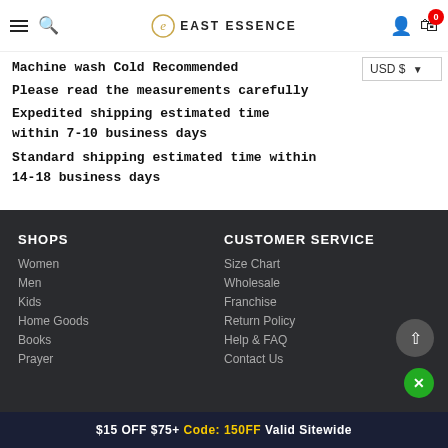East Essence — navigation header with hamburger menu, search, logo, user icon, cart (0)
Machine wash Cold Recommended
Please read the measurements carefully
Expedited shipping estimated time within 7-10 business days
Standard shipping estimated time within 14-18 business days
USD $
SHOPS
Women
Men
Kids
Home Goods
Books
Prayer
CUSTOMER SERVICE
Size Chart
Wholesale
Franchise
Return Policy
Help & FAQ
Contact Us
$15 OFF $75+ Code: 150FF Valid Sitewide